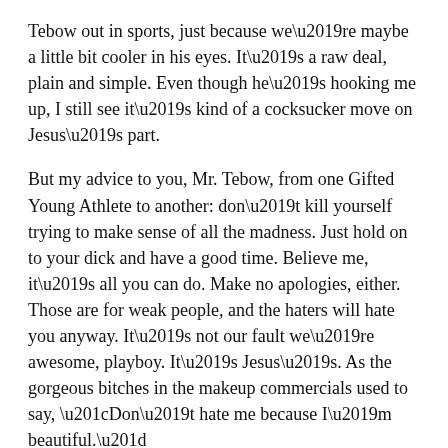Tebow out in sports, just because we're maybe a little bit cooler in his eyes. It's a raw deal, plain and simple. Even though he's hooking me up, I still see it's kind of a cocksucker move on Jesus's part.
But my advice to you, Mr. Tebow, from one Gifted Young Athlete to another: don't kill yourself trying to make sense of all the madness. Just hold on to your dick and have a good time. Believe me, it's all you can do. Make no apologies, either. Those are for weak people, and the haters will hate you anyway. It's not our fault we're awesome, playboy. It's Jesus's. As the gorgeous bitches in the makeup commercials used to say, “Don’t hate me because I’m beautiful.”
God Bless.
Kenny Powers
Shelby, NC